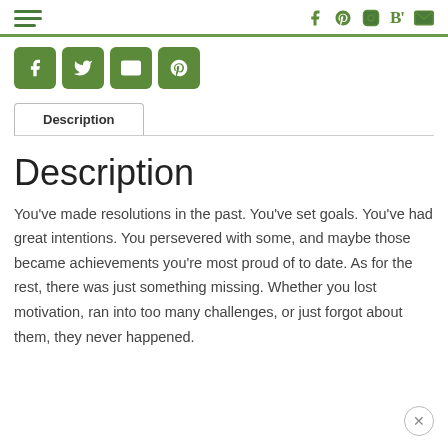Navigation bar with hamburger menu and social icons (f, Pinterest, Instagram, B', email)
[Figure (screenshot): Social share icons row: Facebook, Twitter, Email, Pinterest — green rounded square buttons]
Description
Description
You've made resolutions in the past. You've set goals. You've had great intentions. You persevered with some, and maybe those became achievements you're most proud of to date. As for the rest, there was just something missing. Whether you lost motivation, ran into too many challenges, or just forgot about them, they never happened.